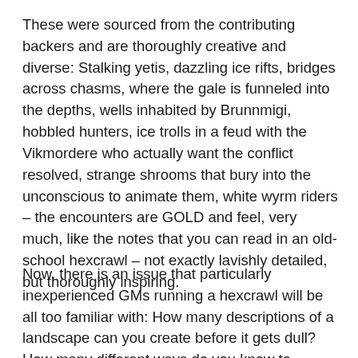These were sourced from the contributing backers and are thoroughly creative and diverse: Stalking yetis, dazzling ice rifts, bridges across chasms, where the gale is funneled into the depths, wells inhabited by Brunnmigi, hobbled hunters, ice trolls in a feud with the Vikmordere who actually want the conflict resolved, strange shrooms that bury into the unconscious to animate them, white wyrm riders – the encounters are GOLD and feel, very much, like the notes that you can read in an old-school hexcrawl – not exactly lavishly detailed, but thoroughly inspiring.
Now, there is an issue that particularly inexperienced GMs running a hexcrawl will be all too familiar with: How many descriptions of a landscape can you create before it gets dull? How many different ways do you know to describe